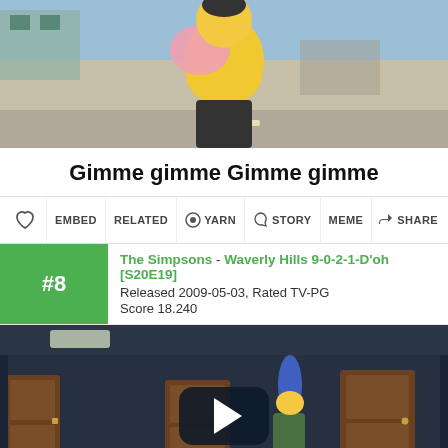[Figure (screenshot): Animated cartoon figure (character in yellow and pink outfit) against a street background]
Gimme gimme Gimme gimme
[Figure (screenshot): Toolbar with icons: heart/favorite, EMBED, RELATED, target/YARN, gift/STORY, MEME, share/SHARE]
The Simpsons - Waverly Hills 9-0-2-1-D'oh [S20E19]
Released 2009-05-03, Rated TV-PG
Score 18.240
[Figure (screenshot): Video player showing animated scene from The Simpsons - Marge Simpson character in a hallway, with play button overlay]